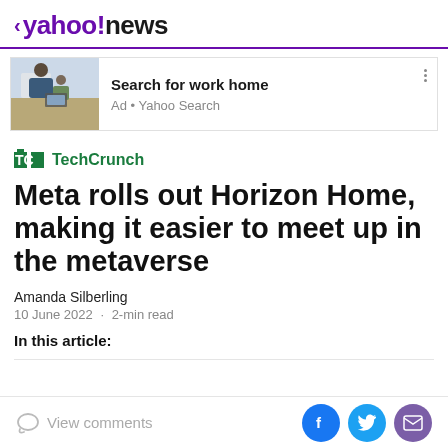< yahoo!news
[Figure (screenshot): Ad banner with image of man and child working at table, text 'Search for work home', 'Ad • Yahoo Search']
[Figure (logo): TechCrunch logo - TC icon in green with TechCrunch text]
Meta rolls out Horizon Home, making it easier to meet up in the metaverse
Amanda Silberling
10 June 2022 · 2-min read
In this article:
View comments